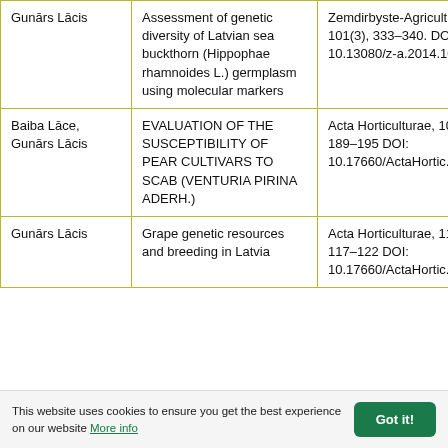| Author | Title | Source (column 1) | Source (column 2) |
| --- | --- | --- | --- |
| Gunārs Lācis | Assessment of genetic diversity of Latvian sea buckthorn (Hippophae rhamnoides L.) germplasm using molecular markers | Zemdirbyste-Agriculture, 101(3), 333–340. DOI 10.13080/z-a.2014.101.043 | Ze... Agr... |
| Baiba Lāce, Gunārs Lācis | EVALUATION OF THE SUSCEPTIBILITY OF PEAR CULTIVARS TO SCAB (VENTURIA PIRINA ADERH.) | Acta Horticulturae, 1094, 189–195 DOI: 10.17660/ActaHortic.2015.1094.24 | Act... Hor... |
| Gunārs Lācis | Grape genetic resources and breeding in Latvia | Acta Horticulturae, 1139, 117–122 DOI: 10.17660/ActaHortic.2016.1139.21 | Act... Hor... |
This website uses cookies to ensure you get the best experience on our website More info